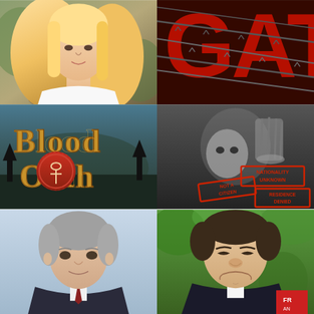[Figure (photo): Portrait photo of a young woman with long blonde hair wearing a white top, outdoors with blurred green/brown background]
[Figure (photo): Book or movie cover showing large red letters partially visible behind barbed wire on a dark background]
[Figure (photo): Fantasy book cover titled 'Blood Oath' with ornate golden text and a red wax seal with an ankh symbol, moody dark background]
[Figure (photo): Black and white photo of a young child pressing hand against glass, with red stamp overlays reading 'Nationality Unknown', 'Not a Citizen', 'Residence Denied']
[Figure (photo): Portrait photo of an older man with grey hair in a suit, light blue background]
[Figure (photo): Photo of a middle-aged man with a skeptical/grimacing expression outdoors with green foliage background, holding a sign partially visible]